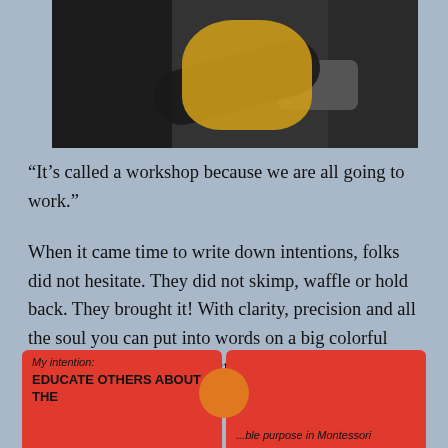[Figure (photo): Photo of a group of people in a room; a person in a yellow top is visible in the center, with others around.]
“It’s called a workshop because we are all going to work.”
When it came time to write down intentions, folks did not hesitate. They did not skimp, waffle or hold back. They brought it! With clarity, precision and all the soul you can put into words on a big colorful sticky note. In another post I will share a full list, but here are some shining examples:
[Figure (photo): Two red/pink sticky notes side by side. Left note reads: 'My intention: EDUCATE OTHERS ABOUT THE'. Right note reads partially visible text about purpose in Montessori.]